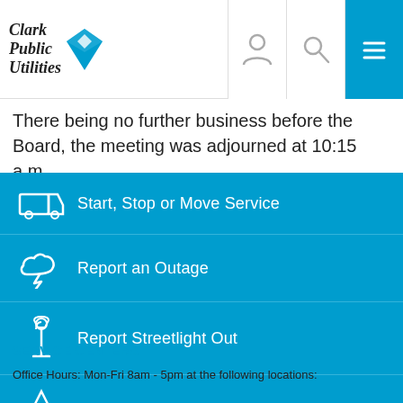Clark Public Utilities
There being no further business before the Board, the meeting was adjourned at 10:15 a.m.
Start, Stop or Move Service
Report an Outage
Report Streetlight Out
Request Tree Trimming
SERVICE CENTERS
Office Hours: Mon-Fri 8am - 5pm at the following locations: